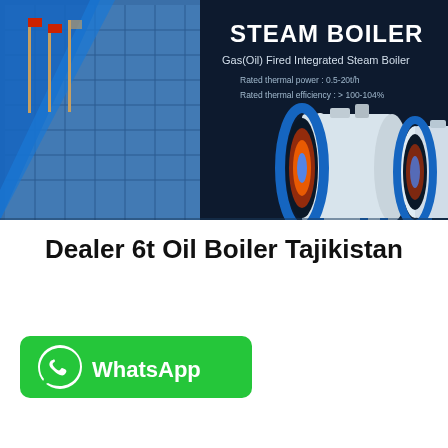[Figure (illustration): Steam boiler product banner with dark navy background showing a building with flagpoles on the left, text 'STEAM BOILER / Gas(Oil) Fired Integrated Steam Boiler' with specs, and three industrial gas/oil-fired integrated steam boilers displayed on the right.]
Dealer 6t Oil Boiler Tajikistan
[Figure (logo): WhatsApp button: green rounded rectangle with WhatsApp phone icon and text 'WhatsApp']